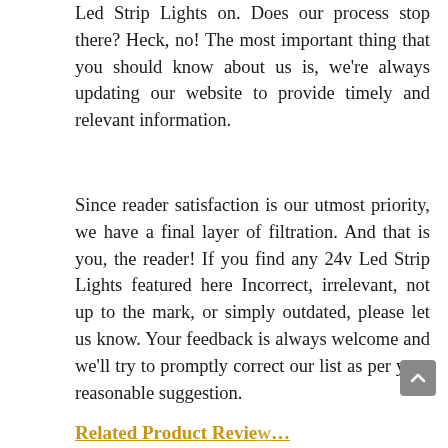Led Strip Lights on. Does our process stop there? Heck, no! The most important thing that you should know about us is, we're always updating our website to provide timely and relevant information.
Since reader satisfaction is our utmost priority, we have a final layer of filtration. And that is you, the reader! If you find any 24v Led Strip Lights featured here Incorrect, irrelevant, not up to the mark, or simply outdated, please let us know. Your feedback is always welcome and we'll try to promptly correct our list as per your reasonable suggestion.
Related Product Reviews